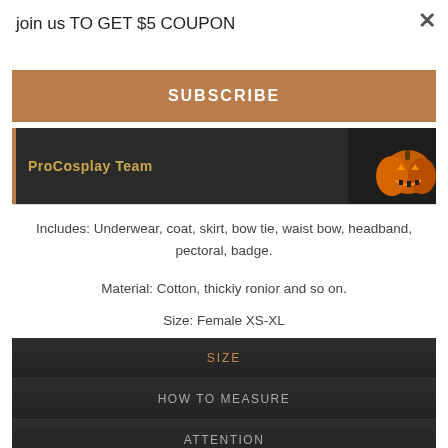join us TO GET $5 COUPON
SUBSCRIBE
[Figure (screenshot): ProCosplay Team banner with dark background and glowing jack-o'-lantern pumpkin on the right]
Includes: Underwear, coat, skirt, bow tie, waist bow, headband, pectoral, badge.
Material: Cotton, thickiy ronior and so on.
Size: Female XS-XL
| SIZE |
| HOW TO MEASURE |
| ATTENTION |
| SPECIFICATIONS |